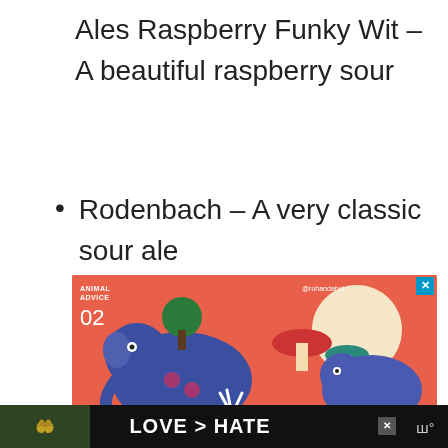Ales Raspberry Funky Wit – A beautiful raspberry sour
Rodenbach – A very classic sour ale
[Figure (illustration): Colorful illustrated advertisement showing blue cartoon elephants with mushrooms and tropical plants on a coral/red background. Text reads 'ANIMAL ADVICE 02' and '@rohandahot' with a close button.]
[Figure (photo): Bottom banner advertisement showing hands making a heart shape with text 'LOVE > HATE' in white on a dark background with a close button and music icon.]